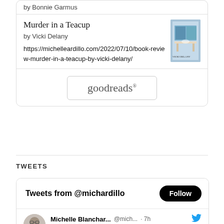by Bonnie Garmus
Murder in a Teacup
by Vicki Delany
https://michelleardillo.com/2022/07/10/book-review-murder-in-a-teacup-by-vicki-delany/
[Figure (logo): goodreads logo in a rounded rectangle box]
TWEETS
Tweets from @michardillo
Follow
Michelle Blanchar... @mich... · 7h
#waffle211 2/5